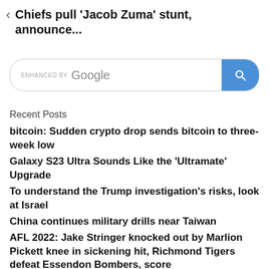Chiefs pull 'Jacob Zuma' stunt, announce...
[Figure (other): Google search bar with ENHANCED BY Google text and blue search button with magnifying glass icon]
Recent Posts
bitcoin: Sudden crypto drop sends bitcoin to three-week low
Galaxy S23 Ultra Sounds Like the 'Ultramate' Upgrade
To understand the Trump investigation's risks, look at Israel
China continues military drills near Taiwan
AFL 2022: Jake Stringer knocked out by Marlion Pickett knee in sickening hit, Richmond Tigers defeat Essendon Bombers, score